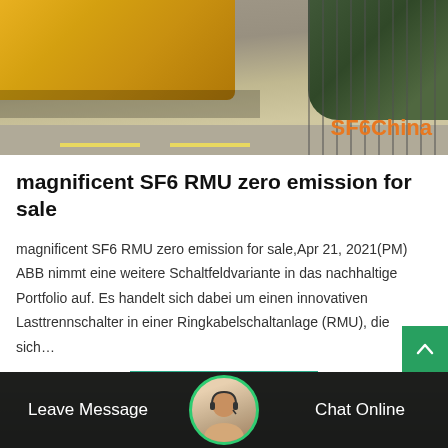[Figure (photo): Outdoor industrial/truck scene with yellow vehicle and greenery, branded SF6China in orange text at bottom right]
magnificent SF6 RMU zero emission for sale
magnificent SF6 RMU zero emission for sale,Apr 21, 2021(PM) ABB nimmt eine weitere Schaltfeldvariante in das nachhaltige Portfolio auf. Es handelt sich dabei um einen innovativen Lasttrennschalter in einer Ringkabelschaltanlage (RMU), die sich…
Get Price
Leave Message  Chat Online